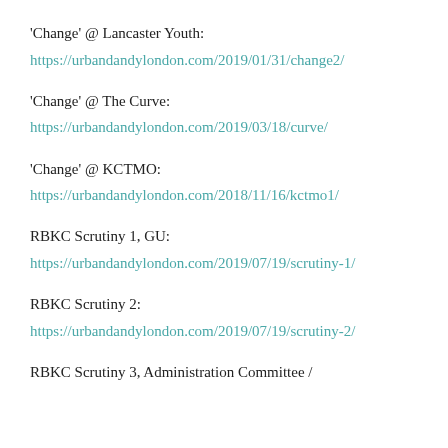'Change' @ Lancaster Youth:
https://urbandandylondon.com/2019/01/31/change2/
'Change' @ The Curve:
https://urbandandylondon.com/2019/03/18/curve/
'Change' @ KCTMO:
https://urbandandylondon.com/2018/11/16/kctmo1/
RBKC Scrutiny 1, GU:
https://urbandandylondon.com/2019/07/19/scrutiny-1/
RBKC Scrutiny 2:
https://urbandandylondon.com/2019/07/19/scrutiny-2/
RBKC Scrutiny 3, Administration Committee /